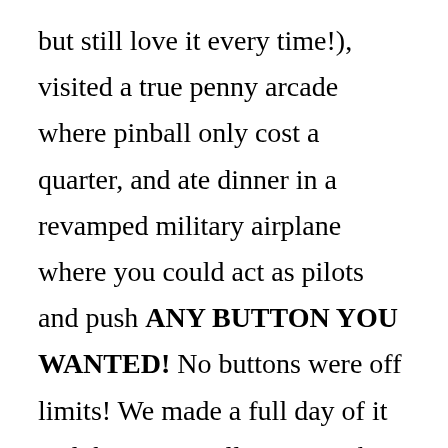but still love it every time!), visited a true penny arcade where pinball only cost a quarter, and ate dinner in a revamped military airplane where you could act as pilots and push ANY BUTTON YOU WANTED! No buttons were off limits! We made a full day of it and there was still more quirky things we didn't see.

Out of all the adventures I've taken my children on over the years, this was one of